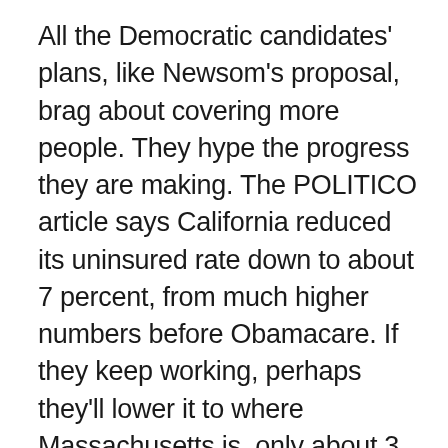All the Democratic candidates' plans, like Newsom's proposal, brag about covering more people. They hype the progress they are making. The POLITICO article says California reduced its uninsured rate down to about 7 percent, from much higher numbers before Obamacare. If they keep working, perhaps they'll lower it to where Massachusetts is, only about 3 percent uninsured.
That would be a wonderful goal, except for two things: